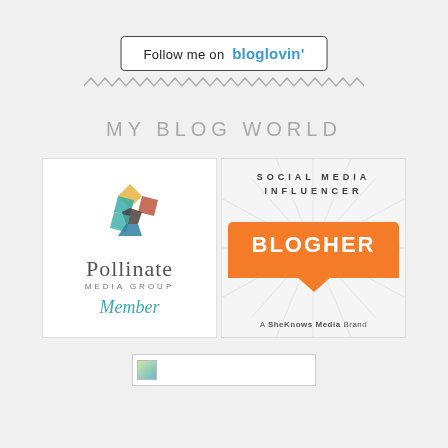[Figure (other): Follow me on bloglovin' button with blue bloglovin text and black border]
[Figure (other): Wavy zigzag decorative divider line]
MY BLOG WORLD
[Figure (logo): Pollinate Media Group Member logo with colorful hexagonal flower graphic]
[Figure (logo): BlogHer Social Media Influencer badge with orange speech bubble, A SheKnows Media Brand]
[Figure (other): Small image placeholder with broken image icon]